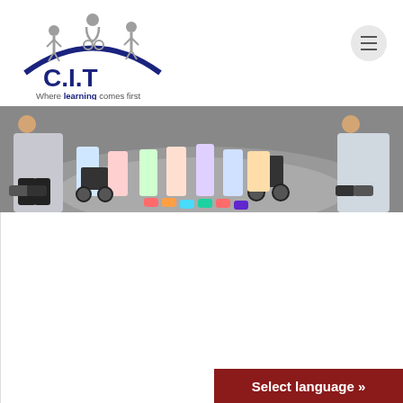[Figure (logo): C.I.T logo with three figures above an arc and text 'Where learning comes first']
[Figure (photo): Group photo showing children and adults at ground level, some in wheelchairs, outdoors on paved surface]
LOCAL CHARITIES HELP FUND SCHOOL DEFIBRILLATOR
20th June 2022
Representatives from Pilgrim Heart & Lung Fund visited Boston Endeavour Academy last week to hand over a cheque for £600
... Read more >> »
Select language »